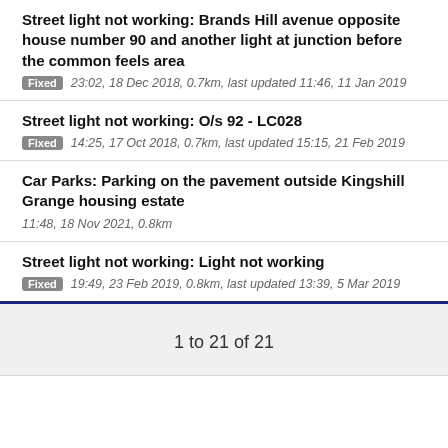Street light not working: Brands Hill avenue opposite house number 90 and another light at junction before the common feels area
Fixed 23:02, 18 Dec 2018, 0.7km, last updated 11:46, 11 Jan 2019
Street light not working: O/s 92 - LC028
Fixed 14:25, 17 Oct 2018, 0.7km, last updated 15:15, 21 Feb 2019
Car Parks: Parking on the pavement outside Kingshill Grange housing estate
11:48, 18 Nov 2021, 0.8km
Street light not working: Light not working
Fixed 19:49, 23 Feb 2019, 0.8km, last updated 13:39, 5 Mar 2019
1 to 21 of 21